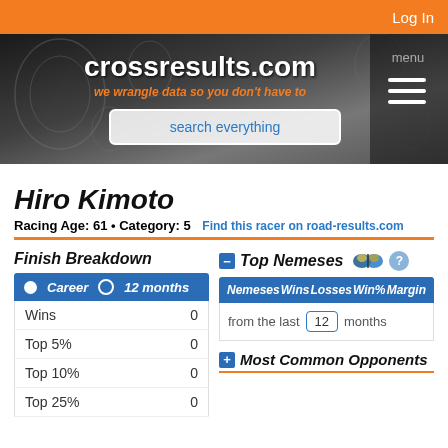Log In
[Figure (screenshot): crossresults.com website banner with logo, subtitle 'we wrangle data so you don't have to', and search box]
Hiro Kimoto
Racing Age: 61 • Category: 5   Find this racer on road-results.com
Finish Breakdown
|  | Career | 12 months |
| --- | --- | --- |
| Wins | 0 |  |
| Top 5% | 0 |  |
| Top 10% | 0 |  |
| Top 25% | 0 |  |
Top Nemeses
| Nemeses | Wins | Losses | Win% | Margin |
| --- | --- | --- | --- | --- |
| from the last | 12 | months |  |  |
Most Common Opponents